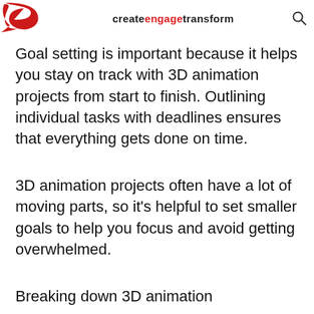createengagetransform
Goal setting is important because it helps you stay on track with 3D animation projects from start to finish. Outlining individual tasks with deadlines ensures that everything gets done on time.
3D animation projects often have a lot of moving parts, so it's helpful to set smaller goals to help you focus and avoid getting overwhelmed.
Breaking down 3D animation